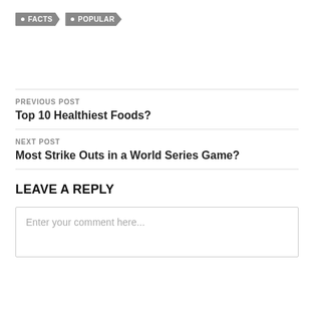FACTS
POPULAR
PREVIOUS POST
Top 10 Healthiest Foods?
NEXT POST
Most Strike Outs in a World Series Game?
LEAVE A REPLY
Enter your comment here...